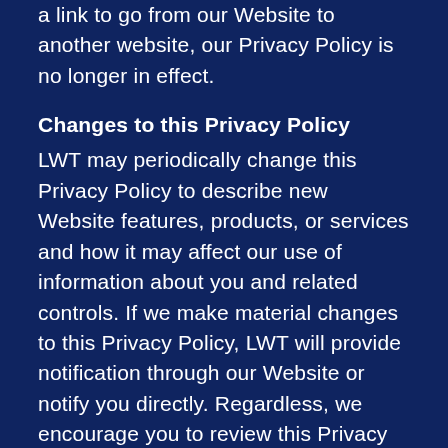a link to go from our Website to another website, our Privacy Policy is no longer in effect.
Changes to this Privacy Policy
LWT may periodically change this Privacy Policy to describe new Website features, products, or services and how it may affect our use of information about you and related controls. If we make material changes to this Privacy Policy, LWT will provide notification through our Website or notify you directly. Regardless, we encourage you to review this Privacy Policy each time you visit our Website.
Contact Us
If you have questions regarding this Privacy